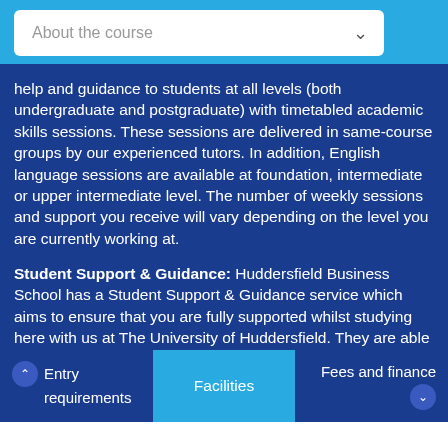[Figure (screenshot): Dropdown selector labelled 'About the course' with chevron icon, on a light blue background bar]
help and guidance to students at all levels (both undergraduate and postgraduate) with timetabled academic skills sessions. These sessions are delivered in same-course groups by our experienced tutors. In addition, English language sessions are available at foundation, intermediate or upper intermediate level. The number of weekly sessions and support you receive will vary depending on the level you are currently working at.
Student Support & Guidance: Huddersfield Business School has a Student Support & Guidance service which aims to ensure that you are fully supported whilst studying here with us at The University of Huddersfield. They are able to offer you help, advice, support and guidance on a wide range of
Entry requirements   Facilities   Fees and finance